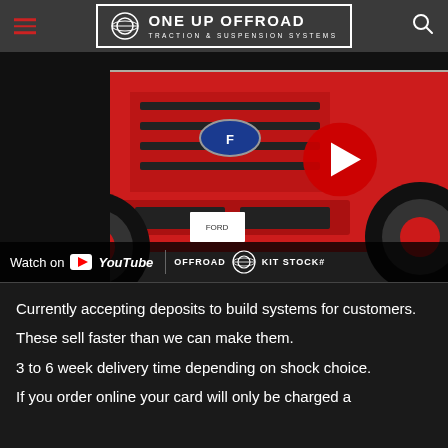ONE UP OFFROAD — Traction & Suspension Systems
[Figure (screenshot): YouTube video thumbnail showing a lifted red Ford truck with large off-road tires and a red play button overlay. Bottom bar shows 'Watch on YouTube' and 'OFFROAD KIT STOCK#' branding.]
Currently accepting deposits to build systems for customers.
These sell faster than we can make them.
3 to 6 week delivery time depending on shock choice.
If you order online your card will only be charged a